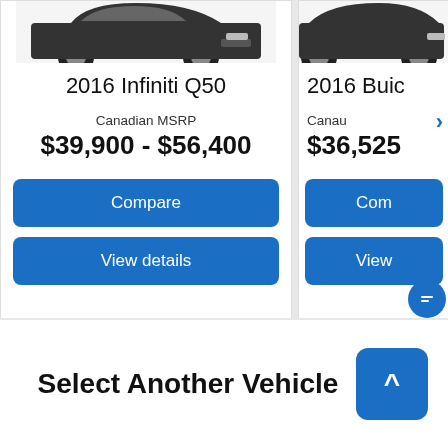[Figure (screenshot): Partial car image (dark sedan) at top of left card]
2016 Infiniti Q50
Canadian MSRP
$39,900 - $56,400
Compare
View details
[Figure (screenshot): Partial car image at top of right card (partially cropped)]
2016 Buic...
Canau...
$36,525
Com...
View...
Select Another Vehicle